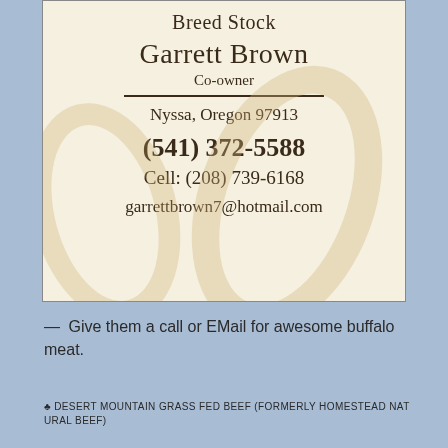[Figure (other): Business card with cream/aged paper background showing stain rings, centered text for Breed Stock, Garrett Brown Co-owner, Nyssa Oregon 97913, phone (541) 372-5588, Cell (208) 739-6168, garrettbrown7@hotmail.com]
— Give them a call or EMail for awesome buffalo meat.
♣ DESERT MOUNTAIN GRASS FED BEEF (FORMERLY HOMESTEAD NATURAL BEEF)